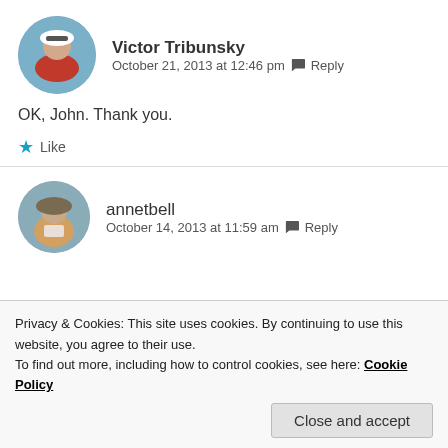Victor Tribunsky
October 21, 2013 at 12:46 pm  Reply
OK, John. Thank you.
Like
annetbell
October 14, 2013 at 11:59 am  Reply
Privacy & Cookies: This site uses cookies. By continuing to use this website, you agree to their use.
To find out more, including how to control cookies, see here: Cookie Policy
Close and accept